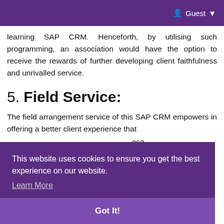Guest
learning SAP CRM. Henceforth, by utilising such programming, an association would have the option to receive the rewards of further developing client faithfulness and unrivalled service.
5. Field Service:
The field arrangement service of this SAP CRM empowers in offering a better client experience that ...ose ...the ...ine ...alty and
This website uses cookies to ensure you get the best experience on our website.
Learn More
Got It!
6. Channel Stock: